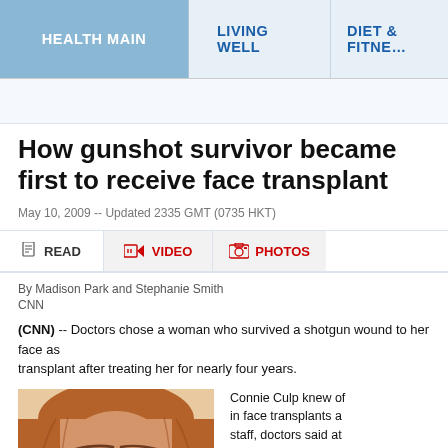HEALTH MAIN | LIVING WELL | DIET & FITNESS
How gunshot survivor became first to receive face transplant
May 10, 2009 -- Updated 2335 GMT (0735 HKT)
READ | VIDEO | PHOTOS
By Madison Park and Stephanie Smith
CNN
(CNN) -- Doctors chose a woman who survived a shotgun wound to her face as the recipient of the nation's first face transplant after treating her for nearly four years.
[Figure (photo): Photo of Connie Culp, a woman with auburn hair, face transplant recipient, showing her face from forehead to chin area]
Connie Culp knew of the interest in face transplants and impressed the staff, doctors said at the...
Dr. Maria Siemionow, the hospital's director of...